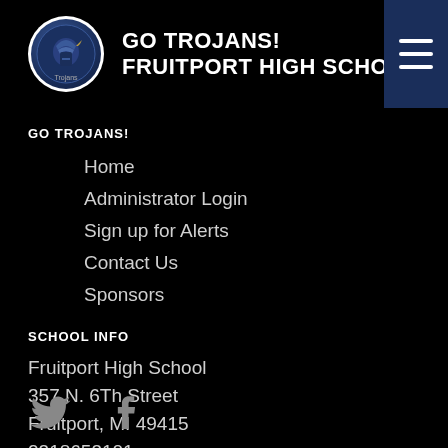GO TROJANS! FRUITPORT HIGH SCHOOL
GO TROJANS!
Home
Administrator Login
Sign up for Alerts
Contact Us
Sponsors
SCHOOL INFO
Fruitport High School
357 N. 6Th Street
Fruitport, MI 49415
2318653101
FOLLOW US
[Figure (illustration): Twitter and Facebook social media icons in grey on black background]